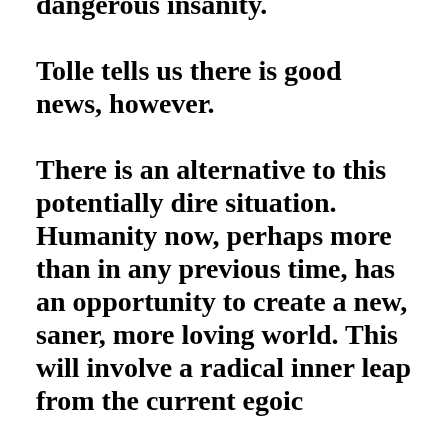dangerous insanity. Tolle tells us there is good news, however. There is an alternative to this potentially dire situation. Humanity now, perhaps more than in any previous time, has an opportunity to create a new, saner, more loving world. This will involve a radical inner leap from the current egoic